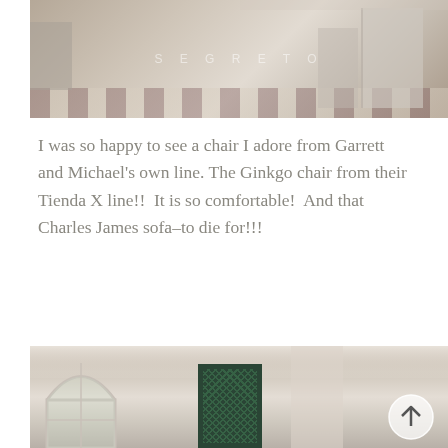[Figure (photo): Interior room photo showing furniture including chairs and a patterned rug, with a Segreto watermark overlaid in the center]
I was so happy to see a chair I adore from Garrett and Michael's own line. The Ginkgo chair from their Tienda X line!!  It is so comfortable!  And that Charles James sofa–to die for!!!
[Figure (photo): Interior architectural photo showing a plastered entryway or hallway with arched window on the left, a framed dark green mesh/grid door panel in the center, and a circular scroll-up navigation button on the right]